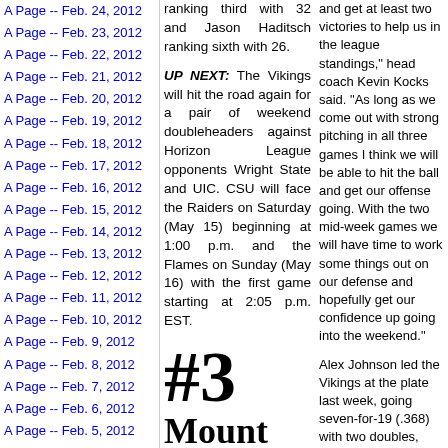A Page -- Feb. 24, 2012
A Page -- Feb. 23, 2012
A Page -- Feb. 22, 2012
A Page -- Feb. 21, 2012
A Page -- Feb. 20, 2012
A Page -- Feb. 19, 2012
A Page -- Feb. 18, 2012
A Page -- Feb. 17, 2012
A Page -- Feb. 16, 2012
A Page -- Feb. 15, 2012
A Page -- Feb. 14, 2012
A Page -- Feb. 13, 2012
A Page -- Feb. 12, 2012
A Page -- Feb. 11, 2012
A Page -- Feb. 10, 2012
A Page -- Feb. 9, 2012
A Page -- Feb. 8, 2012
A Page -- Feb. 7, 2012
A Page -- Feb. 6, 2012
A Page -- Feb. 5, 2012
A Page -- Feb. 4, 2012
A Page -- Feb. 3, 2012
A Page -- Feb. 2, 2012
ranking third with 32 and Jason Haditsch ranking sixth with 26.
UP NEXT: The Vikings will hit the road again for a pair of weekend doubleheaders against Horizon League opponents Wright State and UIC. CSU will face the Raiders on Saturday (May 15) beginning at 1:00 p.m. and the Flames on Sunday (May 16) with the first game starting at 2:05 p.m. EST.
[Figure (other): #3 Mount text logo]
and get at least two victories to help us in the league standings," head coach Kevin Kocks said. "As long as we come out with strong pitching in all three games I think we will be able to hit the ball and get our offense going. With the two mid-week games we will have time to work some things out on our defense and hopefully get our confidence up going into the weekend."
Alex Johnson led the Vikings at the plate last week, going seven-for-19 (.368) with two doubles, four runs, two RBI and three stolen bases, and extended his hitting streak to 14.